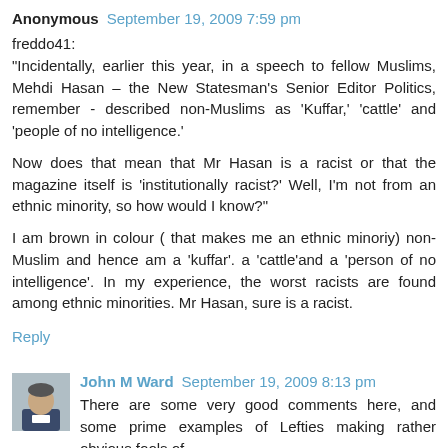Anonymous September 19, 2009 7:59 pm
freddo41:
"Incidentally, earlier this year, in a speech to fellow Muslims, Mehdi Hasan – the New Statesman's Senior Editor Politics, remember - described non-Muslims as 'Kuffar,' 'cattle' and 'people of no intelligence.'

Now does that mean that Mr Hasan is a racist or that the magazine itself is 'institutionally racist?' Well, I'm not from an ethnic minority, so how would I know?"

I am brown in colour ( that makes me an ethnic minoriy) non-Muslim and hence am a 'kuffar'. a 'cattle'and a 'person of no intelligence'. In my experience, the worst racists are found among ethnic minorities. Mr Hasan, sure is a racist.
Reply
John M Ward September 19, 2009 8:13 pm
There are some very good comments here, and some prime examples of Lefties making rather obvious fools of